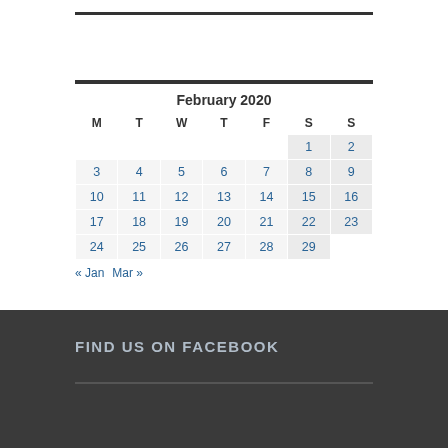| M | T | W | T | F | S | S |
| --- | --- | --- | --- | --- | --- | --- |
|  |  |  |  |  | 1 | 2 |
| 3 | 4 | 5 | 6 | 7 | 8 | 9 |
| 10 | 11 | 12 | 13 | 14 | 15 | 16 |
| 17 | 18 | 19 | 20 | 21 | 22 | 23 |
| 24 | 25 | 26 | 27 | 28 | 29 |  |
« Jan   Mar »
FIND US ON FACEBOOK